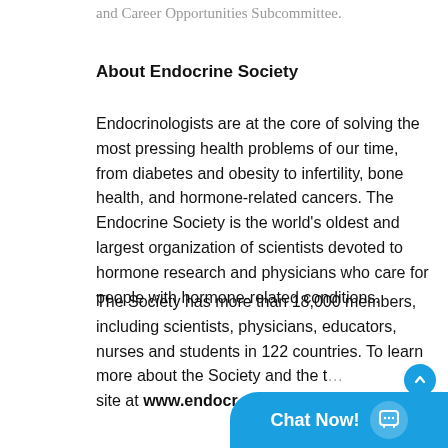and Career Opportunities Subcommittee.
About Endocrine Society
Endocrinologists are at the core of solving the most pressing health problems of our time, from diabetes and obesity to infertility, bone health, and hormone-related cancers. The Endocrine Society is the world's oldest and largest organization of scientists devoted to hormone research and physicians who care for people with hormone-related conditions.
The Society has more than 18,000 members, including scientists, physicians, educators, nurses and students in 122 countries. To learn more about the Society and the [truncated] site at www.endocr[truncated]